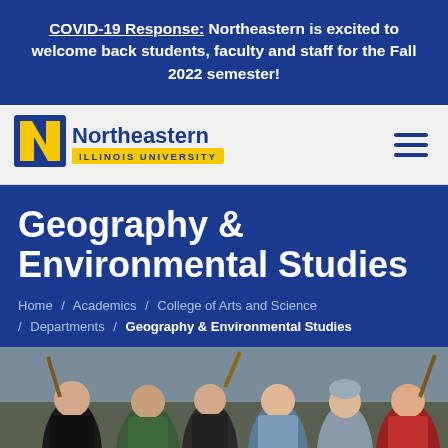COVID-19 Response: Northeastern is excited to welcome back students, faculty and staff for the Fall 2022 semester!
[Figure (logo): Northeastern Illinois University logo with N mark and gold bar]
Geography & Environmental Studies
Home / Academics / College of Arts and Science / Departments / Geography & Environmental Studies
[Figure (photo): Group of five students and faculty members outdoors holding shovels and gardening tools, smiling at the camera]